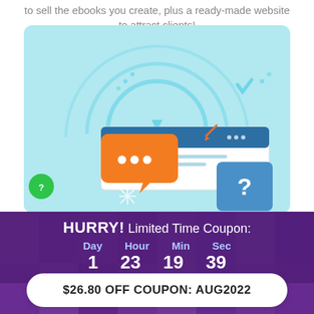to sell the ebooks you create, plus a ready-made website to attract clients!
[Figure (illustration): Sqribble ebook software illustration with chat bubble, question mark icon, and decorative arcs on a light blue background]
HURRY! Limited Time Coupon:
Day 1  Hour 23  Min 19  Sec 39
$26.80 OFF COUPON: AUG2022